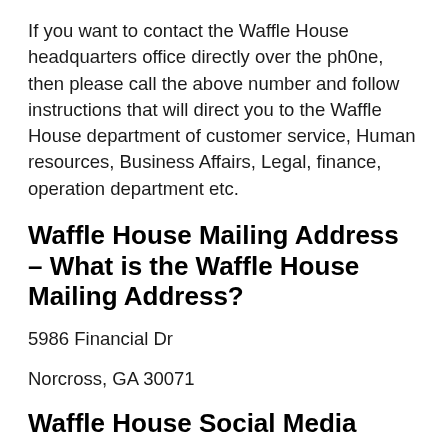If you want to contact the Waffle House headquarters office directly over the ph0ne, then please call the above number and follow instructions that will direct you to the Waffle House department of customer service, Human resources, Business Affairs, Legal, finance, operation department etc.
Waffle House Mailing Address – What is the Waffle House Mailing Address?
5986 Financial Dr
Norcross, GA 30071
Waffle House Social Media